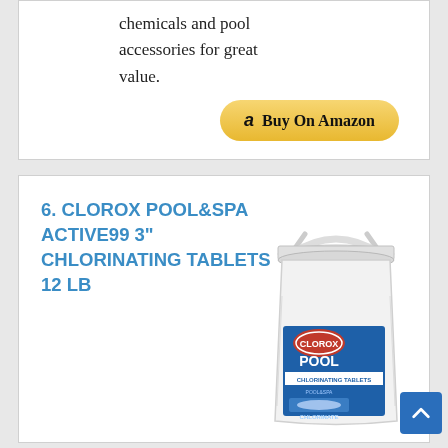chemicals and pool accessories for great value.
[Figure (other): Buy On Amazon button with Amazon logo]
6. CLOROX POOL&SPA ACTIVE99 3" CHLORINATING TABLETS 12 LB
[Figure (photo): Clorox Pool & Spa chlorinating tablets 12 lb white bucket with blue label showing CLOROX POOL CHLORINATING TABLETS branding and a tablet image]